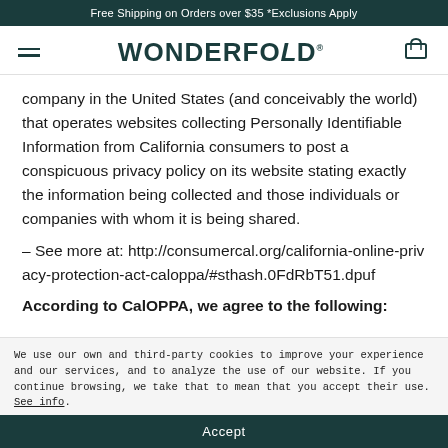Free Shipping on Orders over $35 *Exclusions Apply
[Figure (logo): WonderFold logo with hamburger menu icon on left and shopping cart icon on right]
company in the United States (and conceivably the world) that operates websites collecting Personally Identifiable Information from California consumers to post a conspicuous privacy policy on its website stating exactly the information being collected and those individuals or companies with whom it is being shared.
– See more at: http://consumercal.org/california-online-privacy-protection-act-caloppa/#sthash.0FdRbT51.dpuf
According to CalOPPA, we agree to the following:
We use our own and third-party cookies to improve your experience and our services, and to analyze the use of our website. If you continue browsing, we take that to mean that you accept their use. See info.
Accept